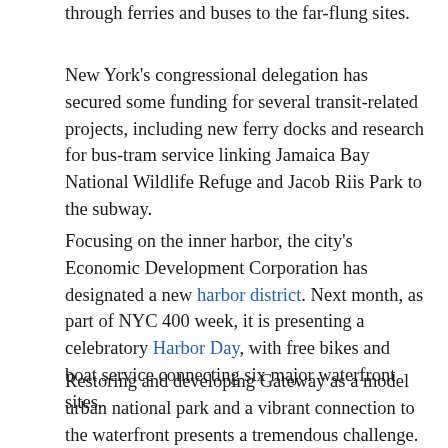through ferries and buses to the far-flung sites.
New York's congressional delegation has secured some funding for several transit-related projects, including new ferry docks and research for bus-tram service linking Jamaica Bay National Wildlife Refuge and Jacob Riis Park to the subway.
Focusing on the inner harbor, the city's Economic Development Corporation has designated a new harbor district. Next month, as part of NYC 400 week, it is presenting a celebratory Harbor Day, with free bikes and boat service connecting six major waterfront sites.
Restoring and developing Gateway as a model urban national park and a vibrant connection to the waterfront presents a tremendous challenge. It will require a vision that balances ecological conservation, historic preservation and recreation, greatly improved public access, and the cooperation of scores of stakeholders.